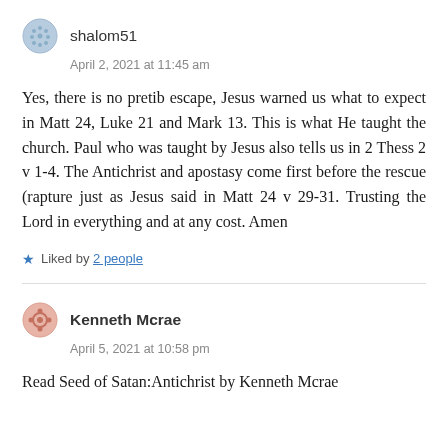shalom51
April 2, 2021 at 11:45 am
Yes, there is no pretib escape, Jesus warned us what to expect in Matt 24, Luke 21 and Mark 13. This is what He taught the church. Paul who was taught by Jesus also tells us in 2 Thess 2 v 1-4. The Antichrist and apostasy come first before the rescue (rapture just as Jesus said in Matt 24 v 29-31. Trusting the Lord in everything and at any cost. Amen
Liked by 2 people
Kenneth Mcrae
April 5, 2021 at 10:58 pm
Read Seed of Satan:Antichrist by Kenneth Mcrae